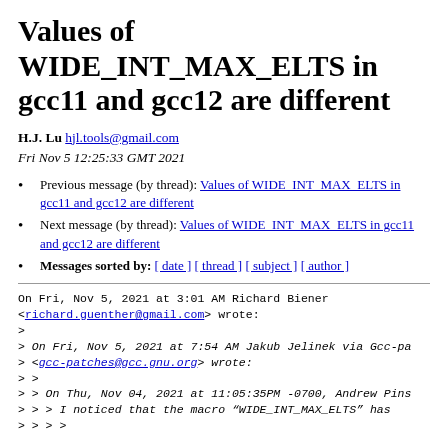Values of WIDE_INT_MAX_ELTS in gcc11 and gcc12 are different
H.J. Lu hjl.tools@gmail.com
Fri Nov 5 12:25:33 GMT 2021
Previous message (by thread): Values of WIDE_INT_MAX_ELTS in gcc11 and gcc12 are different
Next message (by thread): Values of WIDE_INT_MAX_ELTS in gcc11 and gcc12 are different
Messages sorted by: [ date ] [ thread ] [ subject ] [ author ]
On Fri, Nov 5, 2021 at 3:01 AM Richard Biener
<richard.guenther@gmail.com> wrote:
>
> On Fri, Nov 5, 2021 at 7:54 AM Jakub Jelinek via Gcc-pa
> <gcc-patches@gcc.gnu.org> wrote:
> >
> > On Thu, Nov 04, 2021 at 11:05:35PM -0700, Andrew Pins
> > > I noticed that the macro “WIDE_INT_MAX_ELTS” has
> > >